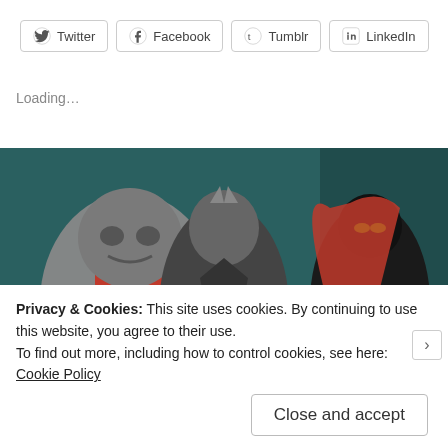[Figure (other): Social sharing buttons: Twitter, Facebook, Tumblr, LinkedIn]
Loading...
[Figure (illustration): Comic book style illustration showing superhero characters including a large grey figure, an armored character with red cross, a bat-themed figure, and Spawn. Date overlay: October 6, 2012. Partial title text visible: The Changing face of Image]
Privacy & Cookies: This site uses cookies. By continuing to use this website, you agree to their use.
To find out more, including how to control cookies, see here: Cookie Policy
Close and accept